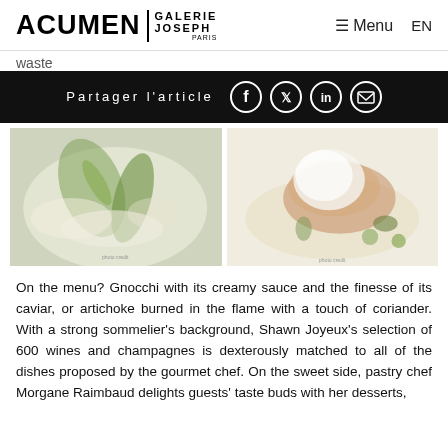ACUMEN GALERIE JOSEPH PARIS  ≡ Menu  EN
waste
Partager l'article
[Figure (photo): Two food photography images side by side: left shows a close-up of a dish with green leaves/herbs on white; right shows a plated fish dish with foam/cream and microgreens on a white plate]
On the menu? Gnocchi with its creamy sauce and the finesse of its caviar, or artichoke burned in the flame with a touch of coriander. With a strong sommelier's background, Shawn Joyeux's selection of 600 wines and champagnes is dexterously matched to all of the dishes proposed by the gourmet chef. On the sweet side, pastry chef Morgane Raimbaud delights guests' taste buds with her desserts,